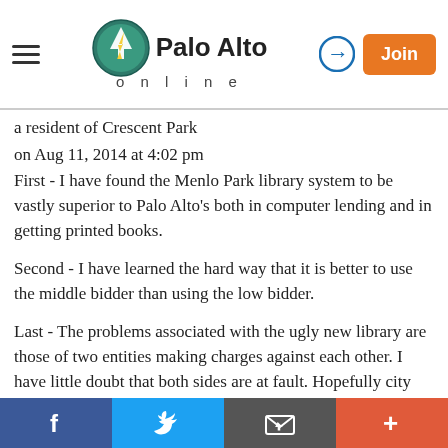Palo Alto online
a resident of Crescent Park
on Aug 11, 2014 at 4:02 pm
First - I have found the Menlo Park library system to be vastly superior to Palo Alto's both in computer lending and in getting printed books.
Second - I have learned the hard way that it is better to use the middle bidder than using the low bidder.
Last - The problems associated with the ugly new library are those of two entities making charges against each other. I have little doubt that both sides are at fault. Hopefully city management will learn from the myriad of problems. I have worked with the city on one major
f  [Twitter]  [Email]  +